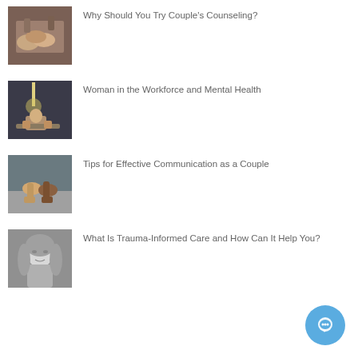[Figure (photo): Two people clasping hands together on a wooden surface]
Why Should You Try Couple's Counseling?
[Figure (photo): Woman with head in hands, sitting at a desk under a lamp in a dark room]
Woman in the Workforce and Mental Health
[Figure (photo): Two people holding hands outdoors, close-up of hands]
Tips for Effective Communication as a Couple
[Figure (photo): Black and white photo of a woman with eyes closed, hair down]
What Is Trauma-Informed Care and How Can It Help You?